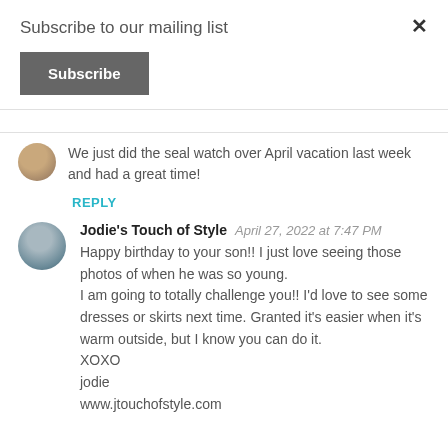Subscribe to our mailing list
Subscribe
We just did the seal watch over April vacation last week and had a great time!
REPLY
Jodie's Touch of Style  April 27, 2022 at 7:47 PM
Happy birthday to your son!! I just love seeing those photos of when he was so young.
I am going to totally challenge you!! I'd love to see some dresses or skirts next time. Granted it's easier when it's warm outside, but I know you can do it.
XOXO
jodie
www.jtouchofstyle.com